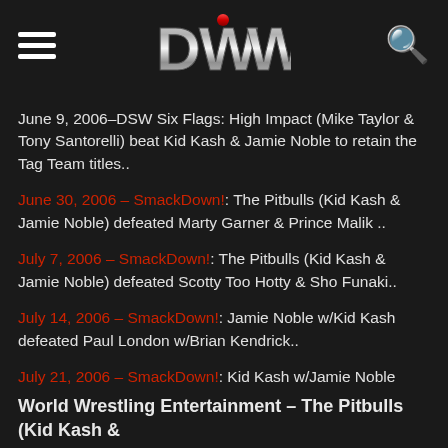DWW logo header with hamburger menu and search icon
June 9, 2006–DSW Six Flags: High Impact (Mike Taylor & Tony Santorelli) beat Kid Kash & Jamie Noble to retain the Tag Team titles..
June 30, 2006 – SmackDown!: The Pitbulls (Kid Kash & Jamie Noble) defeated Marty Garner & Prince Malik ..
July 7, 2006 – SmackDown!: The Pitbulls (Kid Kash & Jamie Noble) defeated Scotty Too Hotty & Sho Funaki..
July 14, 2006 – SmackDown!: Jamie Noble w/Kid Kash defeated Paul London w/Brian Kendrick..
July 21, 2006 – SmackDown!: Kid Kash w/Jamie Noble defeated Brian Kendrick w/Paul London..
July 23, 2006 – Great American Bash: Paul London & Brian Kendrick defeated Kid Kash & Jamie Noble to retain the Tag titles..
World Wrestling Entertainment – The Pitbulls (Kid Kash &